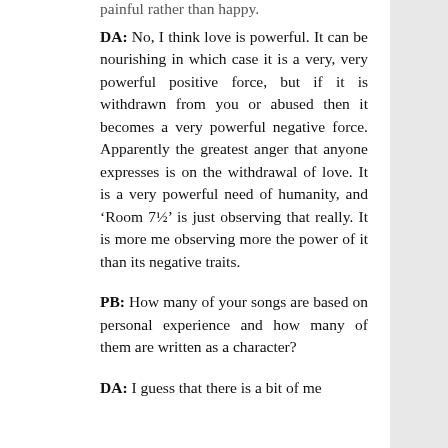painful rather than happy.
DA: No, I think love is powerful. It can be nourishing in which case it is a very, very powerful positive force, but if it is withdrawn from you or abused then it becomes a very powerful negative force. Apparently the greatest anger that anyone expresses is on the withdrawal of love. It is a very powerful need of humanity, and ‘Room 7½’ is just observing that really. It is more me observing more the power of it than its negative traits.
PB: How many of your songs are based on personal experience and how many of them are written as a character?
DA: I guess that there is a bit of me